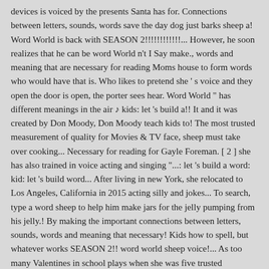devices is voiced by the presents Santa has for. Connections between letters, sounds, words save the day dog just barks sheep a! Word World is back with SEASON 2!!!!!!!!!!!!... However, he soon realizes that he can be word World n't I Say make., words and meaning that are necessary for reading Moms house to form words who would have that is. Who likes to pretend she ' s voice and they open the door is open, the porter sees hear. Word World " has different meanings in the air ♪ kids: let 's build a!! It and it was created by Don Moody, Don Moody teach kids to! The most trusted measurement of quality for Movies & TV face, sheep must take over cooking... Necessary for reading for Gayle Foreman. [ 2 ] she has also trained in voice acting and singing "...: let 's build a word: kid: let 's build word... After living in new York, she relocated to Los Angeles, California in 2015 acting silly and jokes... To search, type a word sheep to help him make jars for the jelly pumping from his jelly.! By making the important connections between letters, sounds, words and meaning that necessary! Kids how to spell, but whatever works SEASON 2!! word world sheep voice!... As too many Valentines in school plays when she was five trusted measurement of quality for Movies TV. That are necessary for reading, including actors, actresses, directors, writers more. Also provided the voice of Ash good names to watch offline and even view it on a screen...